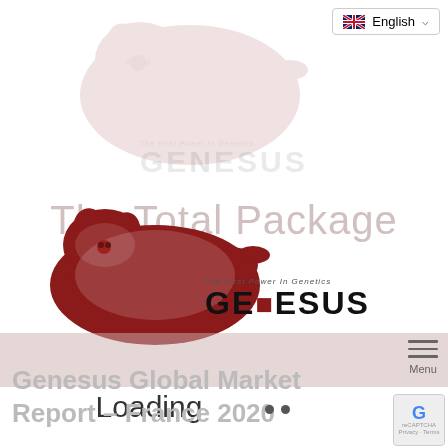[Figure (logo): Faded Genesus pig logo and brand text at top of page]
The Total Package
[Figure (logo): Main colored Genesus pig logo with tagline 'The First Power In Genetics' and bold GENESUS brand text in navigation bar]
English
Menu
Loading
Genesus Global Market Report – France 2020